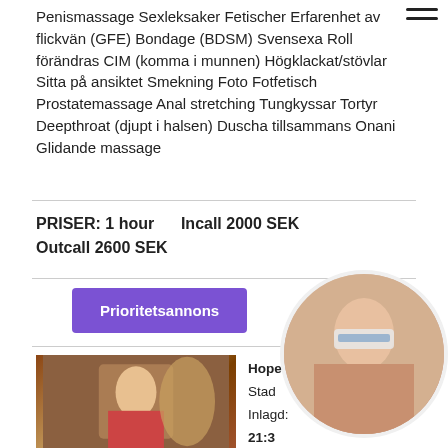Penismassage Sexleksaker Fetischer Erfarenhet av flickvän (GFE) Bondage (BDSM) Svensexa Roll förändras CIM (komma i munnen) Högklackat/stövlar Sitta på ansiktet Smekning Foto Fotfetisch Prostatemassage Anal stretching Tungkyssar Tortyr Deepthroat (djupt i halsen) Duscha tillsammans Onani Glidande massage
PRISER: 1 hour   Incall 2000 SEK
Outcall 2600 SEK
Prioritetsannons
[Figure (photo): Photo of a blonde woman in a red dress]
Hope Stad
Inlagd: 21:3
Profil: 46245321
Verification: New
[Figure (photo): Circular profile photo of a woman]